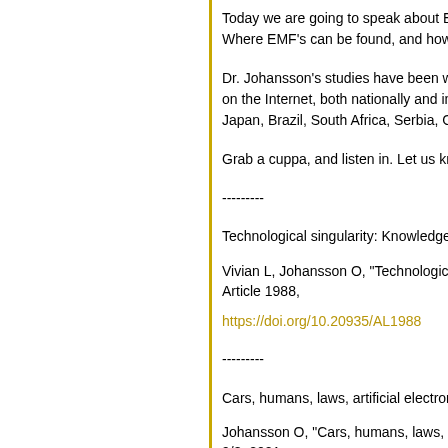Today we are going to speak about Electro Magnetic Freq... Where EMF's can be found, and how we can protect ours...
Dr. Johansson's studies have been widely recognized in th... on the Internet, both nationally and internationally. He has... Japan, Brazil, South Africa, Serbia, Germany, the UK, and...
Grab a cuppa, and listen in. Let us know your thoughts, an...
---------
Technological singularity: Knowledge translation and ethic...
Vivian L, Johansson O, "Technological singularity: Knowle... Article 1988,
https://doi.org/10.20935/AL1988
---------
Cars, humans, laws, artificial electromagnetic fields … but...
Johansson O, "Cars, humans, laws, artificial electromagne... 9/8, 2021
https://newsvoice.se/2021/08/associate-professor-olle-joha...
August Harvest (vs. EMF/RF/5G) — A Tribute to Professor...